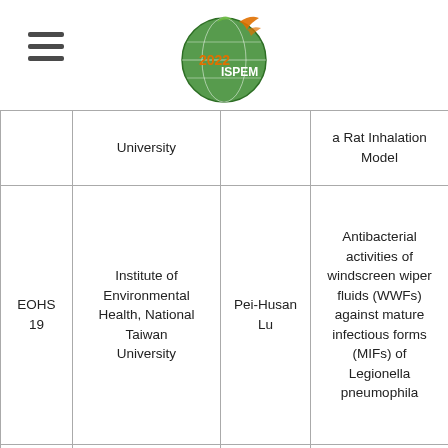2022 ISPEM logo and hamburger menu
|  | University |  | a Rat Inhalation Model |
| EOHS 19 | Institute of Environmental Health, National Taiwan University | Pei-Husan Lu | Antibacterial activities of windscreen wiper fluids (WWFs) against mature infectious forms (MIFs) of Legionella pneumophila |
|  | Institute of |  | A Longitudinal Survey on Malaria |